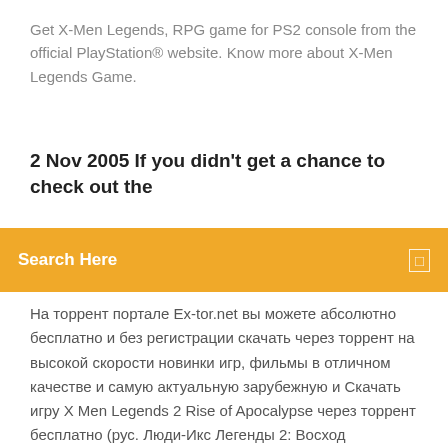Get X-Men Legends, RPG game for PS2 console from the official PlayStation® website. Know more about X-Men Legends Game.
2 Nov 2005 If you didn't get a chance to check out the
Search Here
На торрент портале Ex-tor.net вы можете абсолютно бесплатно и без регистрации скачать через торрент на высокой скорости новинки игр, фильмы в отличном качестве и самую актуальную зарубежную и Скачать игру X Men Legends 2 Rise of Apocalypse через торрент бесплатно (рус. Люди-Икс Легенды 2: Восход Апокалипсиса, ориг. X-Men Legends 2: Rise of Apocalypse PC игры / Action » Скачать торрент X-men legends II Rise of Apocalypse (2006) Любимые герои возвращаются! Росомаха, Шторм, Циклоп, профессор Ксавье и их непримиримые враги во главе с